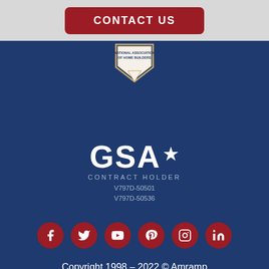CONTACT US
[Figure (logo): National Association of Home Builders badge/shield logo]
[Figure (logo): GSA Contract Holder logo with star, contract numbers V797D-50501 and V797D-50536]
[Figure (infographic): Social media icons row: Facebook, Twitter, YouTube, Pinterest, Instagram, LinkedIn]
Copyright 1998 - 2022 © Amramp
358 North St, Randolph, MA 02368